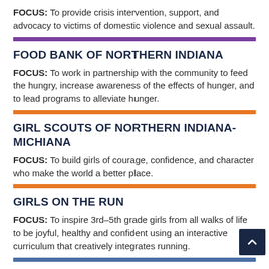FOCUS: To provide crisis intervention, support, and advocacy to victims of domestic violence and sexual assault.
FOOD BANK OF NORTHERN INDIANA
FOCUS: To work in partnership with the community to feed the hungry, increase awareness of the effects of hunger, and to lead programs to alleviate hunger.
GIRL SCOUTS OF NORTHERN INDIANA-MICHIANA
FOCUS: To build girls of courage, confidence, and character who make the world a better place.
GIRLS ON THE RUN
FOCUS: To inspire 3rd–5th grade girls from all walks of life to be joyful, healthy and confident using an interactive curriculum that creatively integrates running.
GREEN BRIDGE GROWERS
FOCUS: To produce fresh, healthy food using sustainable